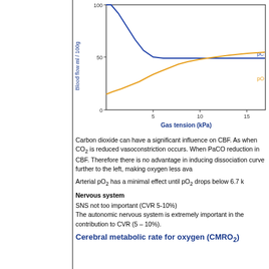[Figure (continuous-plot): Line chart showing Blood flow (ml/100g) vs Gas tension (kPa). Two curves: a blue curve (pCO2) that starts high ~100 at low kPa and drops sharply to plateau ~50 around 5 kPa; an orange curve (pO2) that starts low ~20 at low kPa and rises gradually to ~90 at 15+ kPa. Y-axis labeled 'Blood flow ml / 100g' with ticks at 0, 50, 100. X-axis labeled 'Gas tension (kPa)' with ticks at 5, 10, 15.]
Carbon dioxide can have a significant influence on CBF. As when CO2 is reduced vasoconstriction occurs. When PaCO reduction in CBF. Therefore there is no advantage in inducing dissociation curve further to the left, making oxygen less ava
Arterial pO2 has a minimal effect until pO2 drops below 6.7 k
Nervous system
SNS not too important (CVR 5-10%)
The autonomic nervous system is extremely important in the contribution to CVR (5 – 10%).
Cerebral metabolic rate for oxygen (CMRO2)